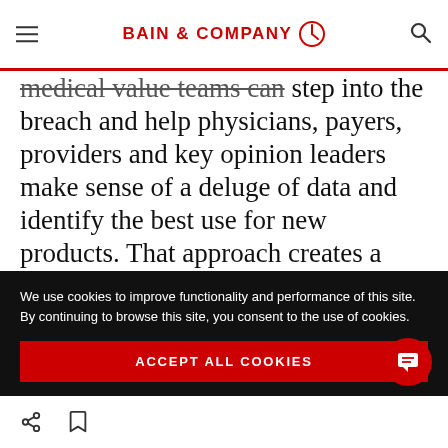BAIN & COMPANY
medical value teams can step into the breach and help physicians, payers, providers and key opinion leaders make sense of a deluge of data and identify the best use for new products. That approach creates a virtuous circle for pharma companies.
As medical value teams build long-term
We use cookies to improve functionality and performance of this site. By continuing to browse this site, you consent to the use of cookies.
ACCEPT ALL COOKIES